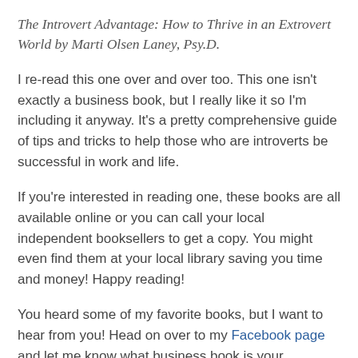The Introvert Advantage: How to Thrive in an Extrovert World by Marti Olsen Laney, Psy.D.
I re-read this one over and over too. This one isn't exactly a business book, but I really like it so I'm including it anyway. It's a pretty comprehensive guide of tips and tricks to help those who are introverts be successful in work and life.
If you're interested in reading one, these books are all available online or you can call your local independent booksellers to get a copy. You might even find them at your local library saving you time and money! Happy reading!
You heard some of my favorite books, but I want to hear from you! Head on over to my Facebook page and let me know what business book is your